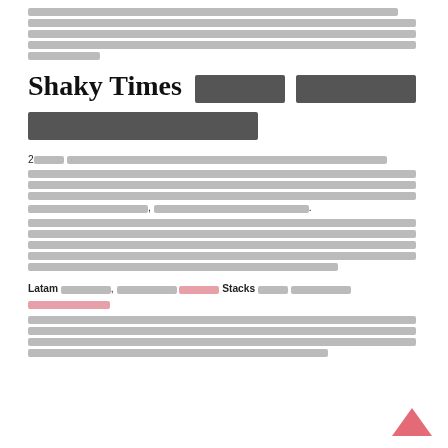[redacted text block at top of page]
Shaky Times [redacted characters]
2[redacted] ... [redacted text paragraph]
Latam [redacted], [redacted] [link: redacted] Stacks [redacted] [link: redacted] [redacted text continues]